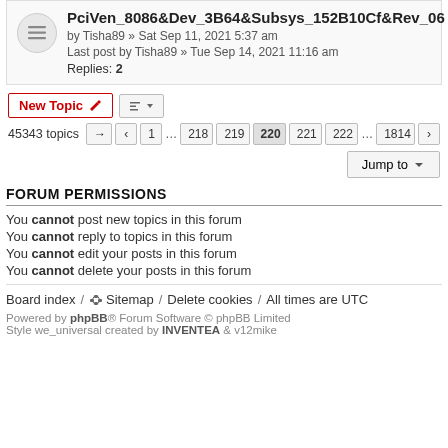PciVen_8086&Dev_3B64&Subsys_152B10Cf&Rev_06 by Tisha89 » Sat Sep 11, 2021 5:37 am | Last post by Tisha89 » Tue Sep 14, 2021 11:16 am | Replies: 2
New Topic | Sort | 45343 topics | pagination: 1 ... 218 219 220 221 222 ... 1814
Jump to
FORUM PERMISSIONS
You cannot post new topics in this forum
You cannot reply to topics in this forum
You cannot edit your posts in this forum
You cannot delete your posts in this forum
Board index / Sitemap / Delete cookies / All times are UTC
Powered by phpBB® Forum Software © phpBB Limited Style we_universal created by INVENTEA & v12mike